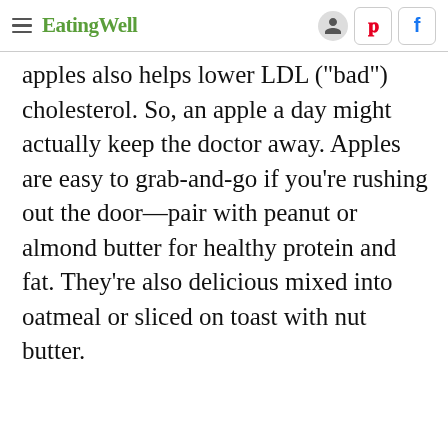EatingWell
apples also helps lower LDL ("bad") cholesterol. So, an apple a day might actually keep the doctor away. Apples are easy to grab-and-go if you're rushing out the door—pair with peanut or almond butter for healthy protein and fat. They're also delicious mixed into oatmeal or sliced on toast with nut butter.